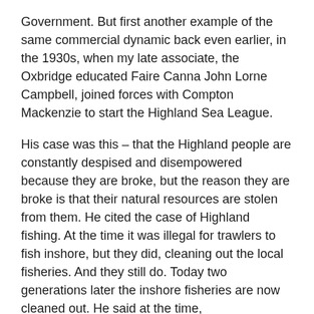Government. But first another example of the same commercial dynamic back even earlier, in the 1930s, when my late associate, the Oxbridge educated Faire Canna John Lorne Campbell, joined forces with Compton Mackenzie to start the Highland Sea League.
His case was this – that the Highland people are constantly despised and disempowered because they are broke, but the reason they are broke is that their natural resources are stolen from them. He cited the case of Highland fishing. At the time it was illegal for trawlers to fish inshore, but they did, cleaning out the local fisheries. And they still do. Today two generations later the inshore fisheries are now cleaned out. He said at the time, “Personally I have never been more thoroughly convinced of the justice of any cause than I was of the Sea League. The situation was a revelation of the attitude of the Westminster government and the Scottish Office towards the Hebrides. The islands were despised because they were poor, and they were poor because their economic interest in the greatest source of wealth accessible to them, the sea, had been sacrificed to those of the English